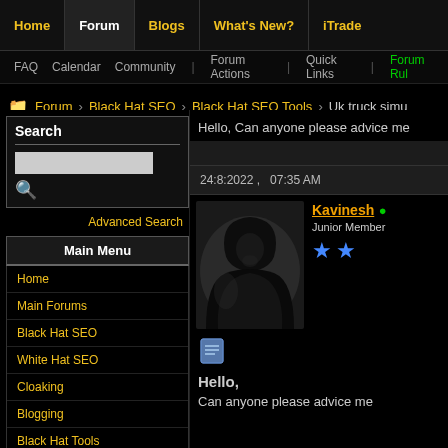Home | Forum | Blogs | What's New? | iTrade
FAQ  Calendar  Community  Forum Actions  Quick Links  Forum Rules
Forum > Black Hat SEO > Black Hat SEO Tools > Uk truck simu...
Search
Advanced Search
Main Menu
Home
Main Forums
Black Hat SEO
White Hat SEO
Cloaking
Blogging
Black Hat Tools
Hello, Can anyone please advice me
24:8:2022 ,   07:35 AM
Kavinesh • Junior Member
Hello,
Can anyone please advice me